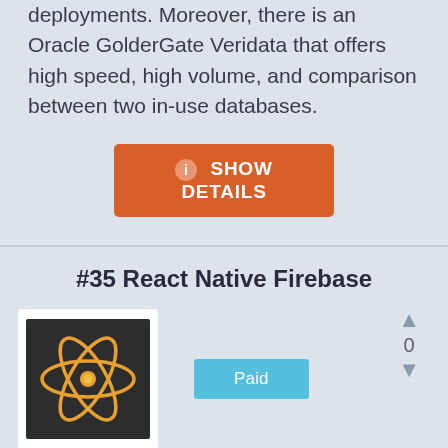deployments. Moreover, there is an Oracle GolderGate Veridata that offers high speed, high volume, and comparison between two in-use databases.
SHOW DETAILS
#35 React Native Firebase
[Figure (logo): React Native Firebase logo: orange atom/react symbol on dark background]
Paid
0
React Native Firebase is an agile platform with a